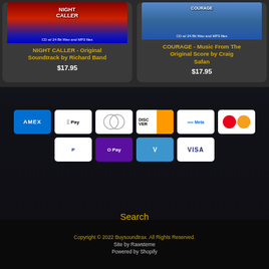[Figure (photo): Product card: NIGHT CALLER - Original Soundtrack by Richard Band. Shows album cover with red/blue tones. CD w/ 24 Bit Wav and MP3 files.]
NIGHT CALLER - Original Soundtrack by Richard Band
$17.95
[Figure (photo): Product card: COURAGE - Music From The Original Score by Craig Safan. Shows album cover. CD w/ 24 Bit Wav and MP3 files.]
COURAGE - Music From The Original Score by Craig Safan
$17.95
[Figure (other): Payment method icons: AMEX, Apple Pay, Diners Club, Discover, Meta, Mastercard, PayPal, O Pay, Venmo, VISA]
Search
Copyright © 2022 Buysoundtrax. All Rights Reserved. Site by Rawsterne Powered by Shopify